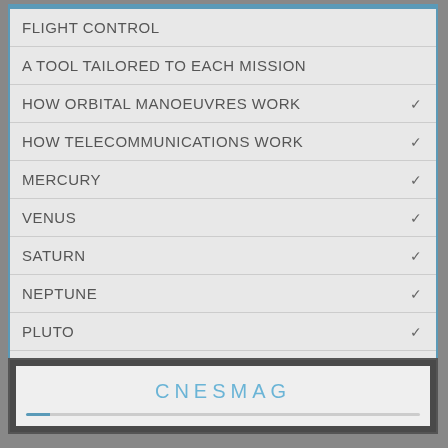FLIGHT CONTROL
A TOOL TAILORED TO EACH MISSION
HOW ORBITAL MANOEUVRES WORK
HOW TELECOMMUNICATIONS WORK
MERCURY
VENUS
SATURN
NEPTUNE
PLUTO
HOW STRATOSPHERIC BALLOONS WORK
CNESMAG